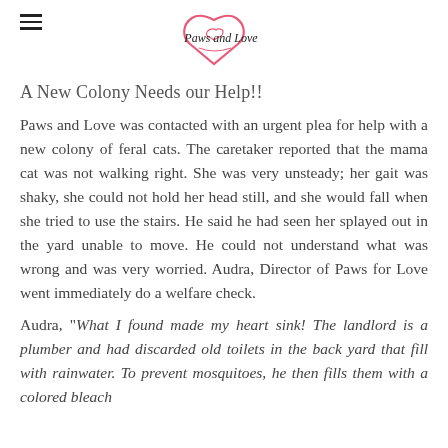Paws and Love
A New Colony Needs our Help!!
Paws and Love was contacted with an urgent plea for help with a new colony of feral cats. The caretaker reported that the mama cat was not walking right. She was very unsteady; her gait was shaky, she could not hold her head still, and she would fall when she tried to use the stairs. He said he had seen her splayed out in the yard unable to move. He could not understand what was wrong and was very worried. Audra, Director of Paws for Love went immediately do a welfare check.
Audra, "What I found made my heart sink! The landlord is a plumber and had discarded old toilets in the back yard that fill with rainwater. To prevent mosquitoes, he then fills them with a colored bleach